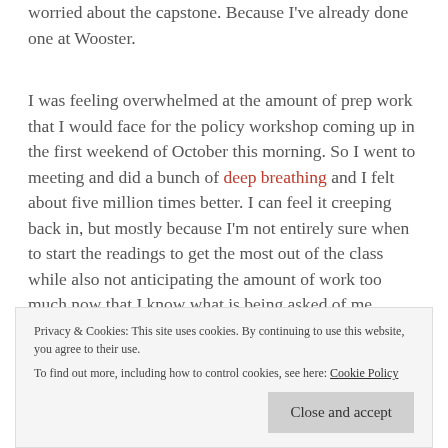worried about the capstone. Because I've already done one at Wooster.
I was feeling overwhelmed at the amount of prep work that I would face for the policy workshop coming up in the first weekend of October this morning. So I went to meeting and did a bunch of deep breathing and I felt about five million times better. I can feel it creeping back in, but mostly because I'm not entirely sure when to start the readings to get the most out of the class while also not anticipating the amount of work too much now that I know what is being asked of me.
This grad school thing is definitely going to be a challenge
Privacy & Cookies: This site uses cookies. By continuing to use this website, you agree to their use.
To find out more, including how to control cookies, see here: Cookie Policy
Close and accept